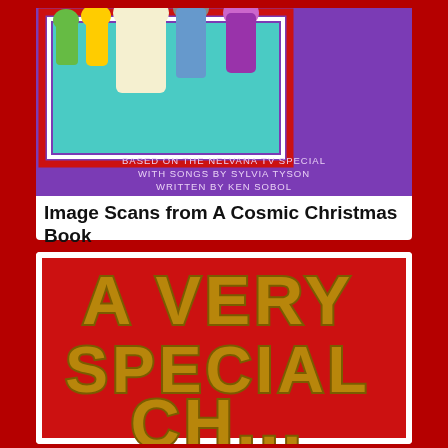[Figure (illustration): Top portion of a book cover with purple background, animated characters visible at the top, teal/aqua inner frame area, with text reading 'BASED ON THE NELVANA TV SPECIAL / WITH SONGS BY SYLVIA TYSON / WRITTEN BY KEN SOBOL']
Image Scans from A Cosmic Christmas Book
[Figure (illustration): Red book cover with large gold/yellow outlined block letters reading 'A VERY SPECIAL' (bottom cut off)]